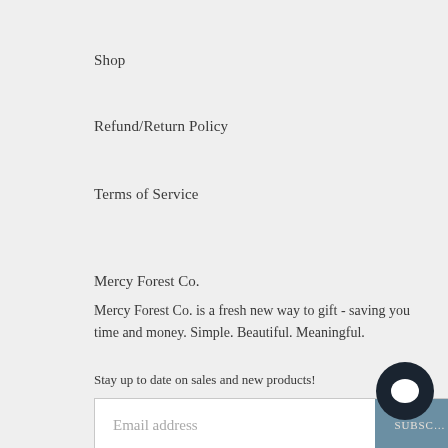Shop
Refund/Return Policy
Terms of Service
Mercy Forest Co.
Mercy Forest Co. is a fresh new way to gift - saving you time and money. Simple. Beautiful. Meaningful.
Stay up to date on sales and new products!
[Figure (other): Email subscription input box with placeholder 'Email address' and a 'SUBSC...' button, alongside a circular chat icon]